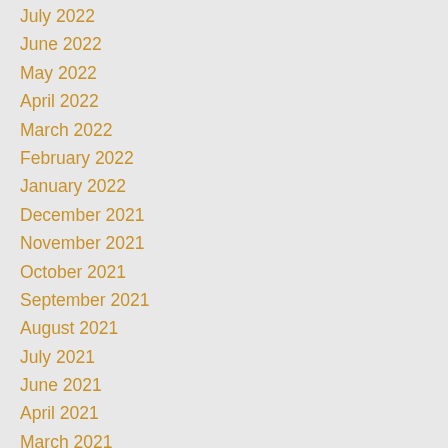July 2022
June 2022
May 2022
April 2022
March 2022
February 2022
January 2022
December 2021
November 2021
October 2021
September 2021
August 2021
July 2021
June 2021
April 2021
March 2021
February 2021
January 2021
October 2020
September 2020